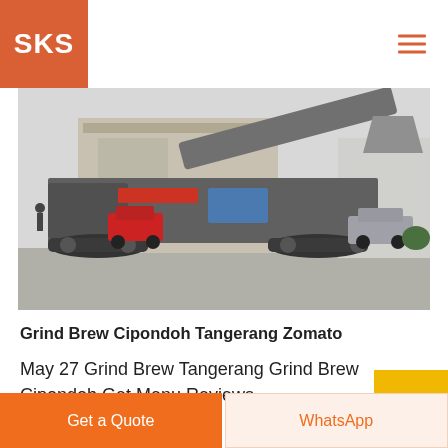SKS
[Figure (photo): Large industrial mobile crusher/grinder machine with tracks, parked in a factory yard. Several cars visible in background. Industrial building behind.]
Grind Brew Cipondoh Tangerang Zomato
May 27 Grind Brew Tangerang Grind Brew Cipondoh Get Menu Reviews Contact e